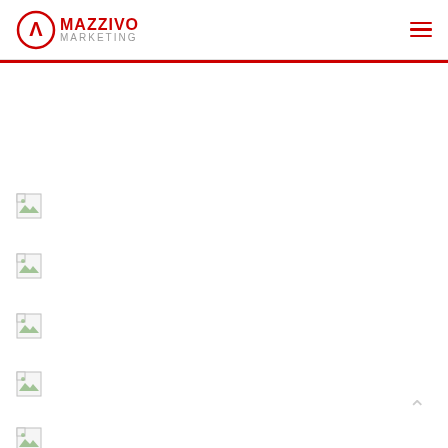Mazzivo Marketing
[Figure (other): Broken image icon row 1]
[Figure (other): Broken image icon row 2]
[Figure (other): Broken image icon row 3]
[Figure (other): Broken image icon row 4]
[Figure (other): Broken image icon row 5]
[Figure (other): Broken image icon row 6]